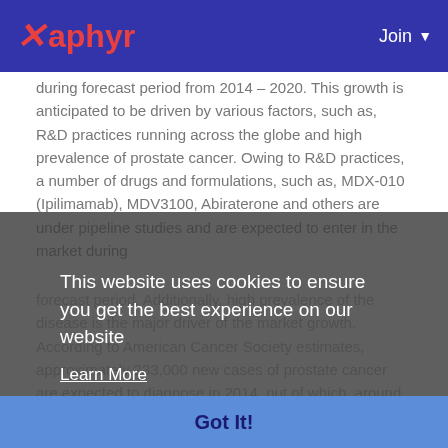Xaphyr  Join
during forecast period from 2014 – 2020. This growth is anticipated to be driven by various factors, such as, R&D practices running across the globe and high prevalence of prostate cancer. Owing to R&D practices, a number of drugs and formulations, such as, MDX-010 (Ipilimamab), MDV3100, Abiraterone and others are under pipeline studies and are expected to enter in the market during forecast period. Additionally, high prevalence of the disease is the major driver of the market growth. According to American Cancer Society estimates, approximately 233,000 new cases of prostate cancer are expected to diagnose in 2014, out of which, around 30,000 people may die due to prostate cancer. Hence, this high prevalence is the major driver of the market growth. In addition, rising
This website uses cookies to ensure you get the best experience on our website
Learn More
Got It!